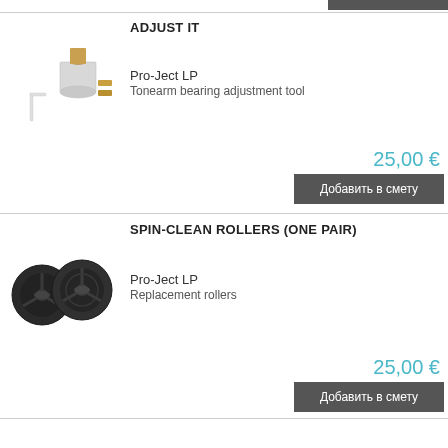[Figure (photo): Photo of Adjust It tonearm bearing adjustment tool - cylindrical silver tool with hex key and gold adjustment bits]
ADJUST IT
Pro-Ject LP
Tonearm bearing adjustment tool
25,00 €
Добавить в смету
[Figure (photo): Photo of Spin-Clean Rollers (One Pair) - two black replacement rollers with star/spoke pattern]
SPIN-CLEAN ROLLERS (ONE PAIR)
Pro-Ject LP
Replacement rollers
25,00 €
Добавить в смету